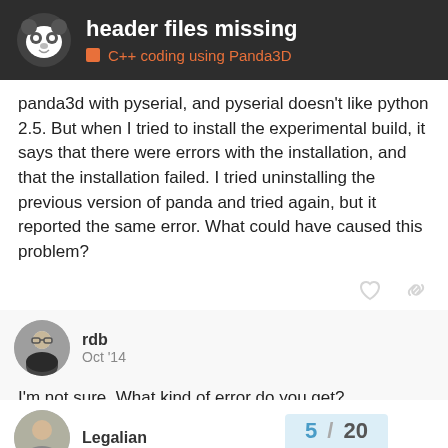header files missing — C++ coding using Panda3D
panda3d with pyserial, and pyserial doesn't like python 2.5. But when I tried to install the experimental build, it says that there were errors with the installation, and that the installation failed. I tried uninstalling the previous version of panda and tried again, but it reported the same error. What could have caused this problem?
rdb  Oct '14
I'm not sure. What kind of error do you get?
Legalian  5 / 20